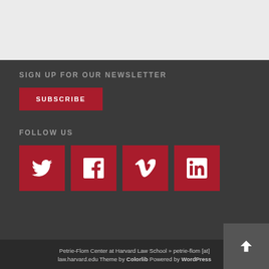SIGN UP FOR OUR NEWSLETTER
SUBSCRIBE
FOLLOW US
[Figure (other): Social media icons: Twitter, Facebook, Vimeo, LinkedIn — red square buttons]
Petrie-Flom Center at Harvard Law School » petrie-flom [at] law.harvard.edu Theme by Colorlib Powered by WordPress